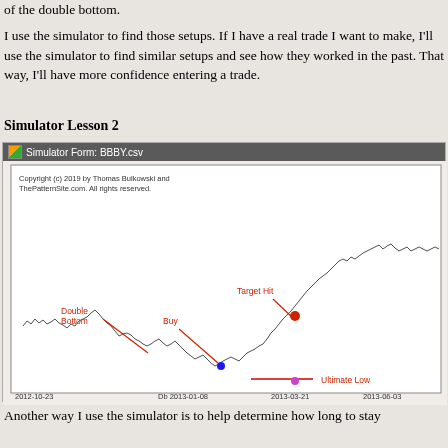of the double bottom.
I use the simulator to find those setups. If I have a real trade I want to make, I'll use the simulator to find similar setups and see how they worked in the past. That way, I'll have more confidence entering a trade.
Simulator Lesson 2
[Figure (screenshot): Simulator Form showing BBBY.csv stock chart from 2012-10-23 to 2013-06-03, annotated with Double Bottom, Buy, Target Hit, and Ultimate Low labels. The price chart shows a double bottom pattern followed by a strong uptrend. The chart has a copyright notice by Thomas Bulkowski and ThePatternSite.com.]
Another way I use the simulator is to help determine how long to stay in a trade and when to exit.